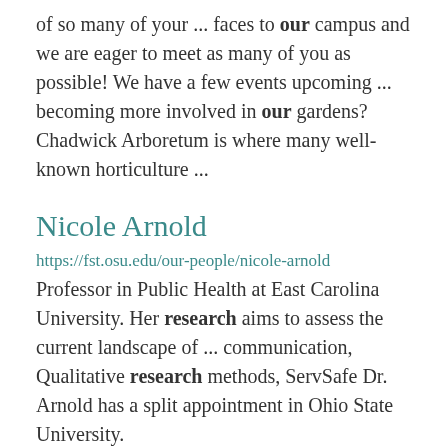of so many of your ... faces to our campus and we are eager to meet as many of you as possible! We have a few events upcoming ... becoming more involved in our gardens? Chadwick Arboretum is where many well-known horticulture ...
Nicole Arnold
https://fst.osu.edu/our-people/nicole-arnold Professor in Public Health at East Carolina University. Her research aims to assess the current landscape of ... communication, Qualitative research methods, ServSafe Dr. Arnold has a split appointment in Ohio State University.